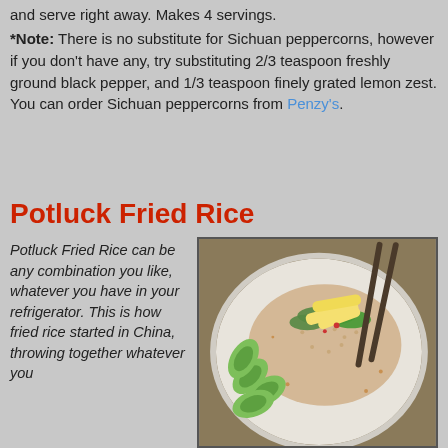and serve right away. Makes 4 servings.
*Note: There is no substitute for Sichuan peppercorns, however if you don't have any, try substituting 2/3 teaspoon freshly ground black pepper, and 1/3 teaspoon finely grated lemon zest. You can order Sichuan peppercorns from Penzy's.
Potluck Fried Rice
Potluck Fried Rice can be any combination you like, whatever you have in your refrigerator. This is how fried rice started in China, throwing together whatever you
[Figure (photo): A plate of fried rice topped with egg, green vegetables, and garnished with sliced cucumber arranged around the edge, served on a white scalloped plate with chopsticks visible in background.]